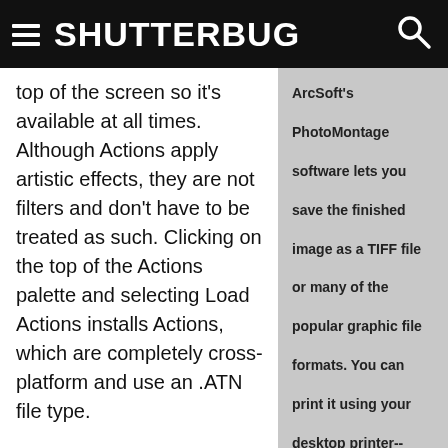SHUTTERBUG
top of the screen so it's available at all times. Although Actions apply artistic effects, they are not filters and don't have to be treated as such. Clicking on the top of the Actions palette and selecting Load Actions installs Actions, which are completely cross-platform and use an .ATN file type.
One of Actions' main attractions is that they're easy to use. A single click is all it takes to apply artistic effects. You can customize Actions based on how you use them. You
ArcSoft's PhotoMontage software lets you save the finished image as a TIFF file or many of the popular graphic file formats. You can print it using your desktop printer-- bigger is better--or you can use ArcSoft's online